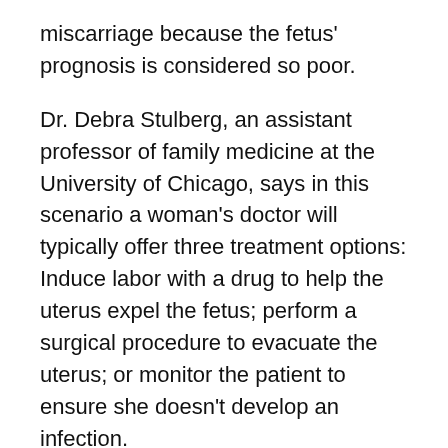miscarriage because the fetus' prognosis is considered so poor.
Dr. Debra Stulberg, an assistant professor of family medicine at the University of Chicago, says in this scenario a woman's doctor will typically offer three treatment options: Induce labor with a drug to help the uterus expel the fetus; perform a surgical procedure to evacuate the uterus; or monitor the patient to ensure she doesn't develop an infection.
But church-affiliated hospitals following the Bishops' ethical directives may not induce abortion of a live fetus, so doctors have essentially one option: Monitor the woman and wait for her to go into labor on her